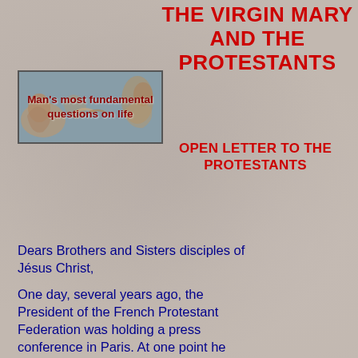THE VIRGIN MARY AND THE PROTESTANTS
[Figure (illustration): Banner image with Renaissance-style painting (Michelangelo's Creation of Adam hands) with text overlay reading 'Man's most fundamental questions on life']
OPEN LETTER TO THE PROTESTANTS
Dears Brothers and Sisters disciples of Jésus Christ,
One day, several years ago, the President of the French Protestant Federation was holding a press conference in Paris. At one point he made a somewhat hesitant reply on the subject of the Virgin Mary. Then an elderly Pastor on his team got up and declared, "I want our journalist friends to know that Protestants are not ashamed to proclaim the Virgin Mary